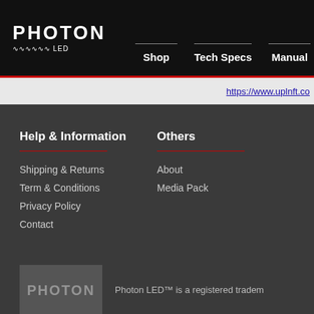[Figure (logo): Photon LED logo with wavy line underneath]
Shop  Tech Specs  Manual
https://www.uplnft.co
Help & Information
Shipping & Returns
Term & Conditions
Privacy Policy
Contact
Others
About
Media Pack
[Figure (logo): Photon LED logo blurred/watermark style]
Photon LED™ is a registered tradem